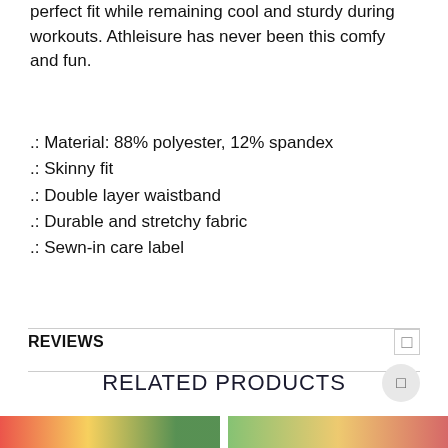perfect fit while remaining cool and sturdy during workouts. Athleisure has never been this comfy and fun.
.: Material: 88% polyester, 12% spandex
.: Skinny fit
.: Double layer waistband
.: Durable and stretchy fabric
.: Sewn-in care label
REVIEWS
RELATED PRODUCTS
[Figure (photo): Partial product images at bottom of page]